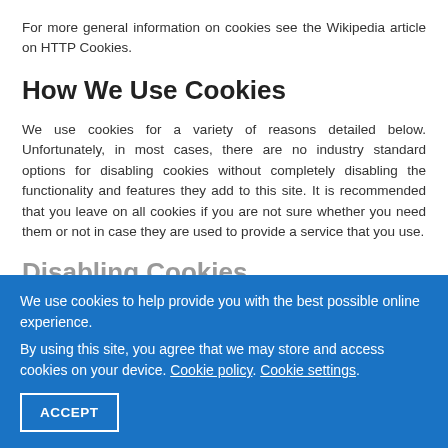For more general information on cookies see the Wikipedia article on HTTP Cookies.
How We Use Cookies
We use cookies for a variety of reasons detailed below. Unfortunately, in most cases, there are no industry standard options for disabling cookies without completely disabling the functionality and features they add to this site. It is recommended that you leave on all cookies if you are not sure whether you need them or not in case they are used to provide a service that you use.
Disabling Cookies
You can prevent the setting of cookies by adjusting the settings on your browser (see your browser Help for how to do this). Be aware that disabling cookies will affect the functionality of this and many other websites that you visit. Disabling cookies will usually result in also disabling certain functionality and features of this site. Therefore it is recommended that you do not
We use cookies to help provide you with the best possible online experience.
By using this site, you agree that we may store and access cookies on your device. Cookie policy. Cookie settings.